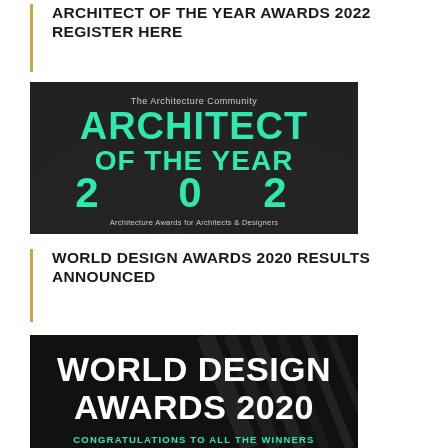ARCHITECT OF THE YEAR AWARDS 2022 REGISTER HERE
[Figure (illustration): Dark background promotional banner for 'Architect of the Year 2022' award, with teal/mint colored large text reading 'ARCHITECT OF THE YEAR 2022' and subtitle 'Architecture Awards for Architects & Designers', also showing 'The Architecture Community' at top. Background features a dark aerial cityscape photo.]
WORLD DESIGN AWARDS 2020 RESULTS ANNOUNCED
[Figure (illustration): Dark background promotional banner for 'World Design Awards 2020' with bold white text reading 'WORLD DESIGN AWARDS 2020' and mint/teal colored text at bottom 'CONGRATULATIONS TO ALL THE WINNERS'.]